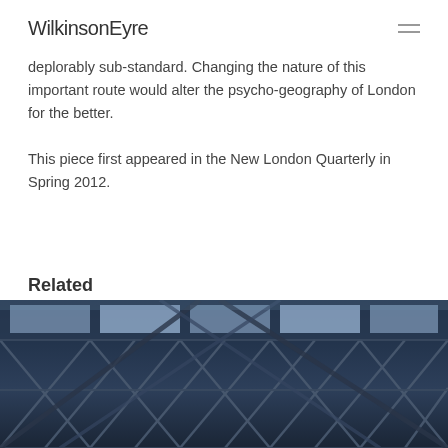WilkinsonEyre
deplorably sub-standard. Changing the nature of this important route would alter the psycho-geography of London for the better.
This piece first appeared in the New London Quarterly in Spring 2012.
Related
[Figure (photo): Interior architectural photo showing a steel lattice/truss ceiling structure with diagonal cross-bracing elements, photographed from below looking up, with blue-grey tones and lighting fixtures visible through the structural grid.]